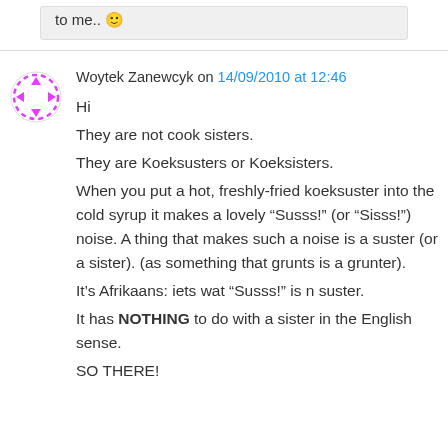to me.. 😊
Woytek Zanewcyk on 14/09/2010 at 12:46

Hi
They are not cook sisters.
They are Koeksusters or Koeksisters.
When you put a hot, freshly-fried koeksuster into the cold syrup it makes a lovely "Susss!" (or "Sisss!") noise. A thing that makes such a noise is a suster (or a sister). (as something that grunts is a grunter).
It's Afrikaans: iets wat "Susss!" is n suster.
It has NOTHING to do with a sister in the English sense.
SO THERE!